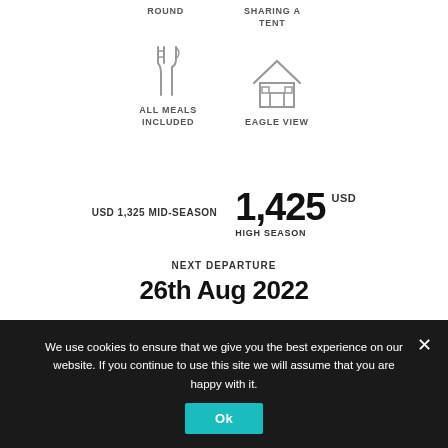ROUND
SHARING A TENT
[Figure (illustration): Fork and knife icon representing all meals included]
ALL MEALS INCLUDED
[Figure (illustration): House/home icon representing eagle view accommodation]
EAGLE VIEW
USD 1,325 MID-SEASON
1,425
HIGH SEASON
USD
NEXT DEPARTURE
26th Aug 2022
BOOK NOW
READ MORE
We use cookies to ensure that we give you the best experience on our website. If you continue to use this site we will assume that you are happy with it.